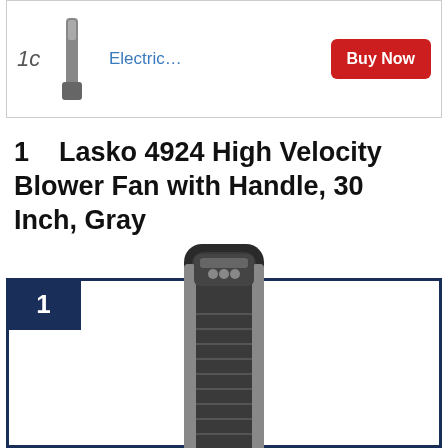[Figure (photo): Partial product listing card at top showing a fan image, 'Electric...' link text in blue, and a red 'Buy Now' button. Item number partially visible as '1c' or similar.]
1    Lasko 4924 High Velocity Blower Fan with Handle, 30 Inch, Gray
[Figure (photo): Product photo of the Lasko 4924 High Velocity Blower Fan, a tall dark gray/black fan with silver accents, shown inside a dark navy blue bordered box with a '1' rank badge in the top-left corner.]